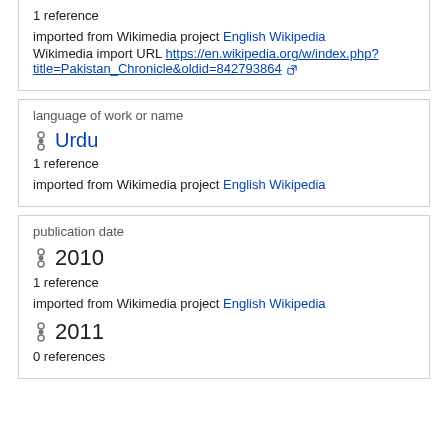1 reference
imported from Wikimedia project English Wikipedia
Wikimedia import URL https://en.wikipedia.org/w/index.php?title=Pakistan_Chronicle&oldid=842793864
language of work or name
Urdu
1 reference
imported from Wikimedia project English Wikipedia
publication date
2010
1 reference
imported from Wikimedia project English Wikipedia
2011
0 references